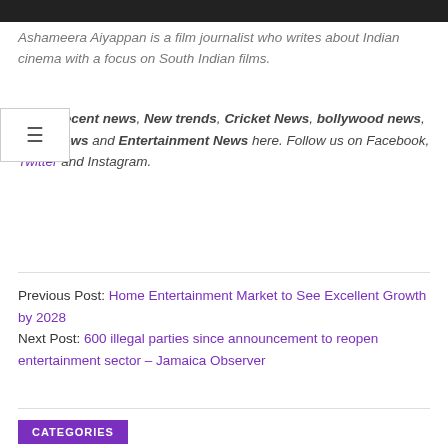Ashameera Aiyappan is a film journalist who writes about Indian cinema with a focus on South Indian films.
Find all Recent news, New trends, Cricket News, bollywood news, India News and Entertainment News here. Follow us on Facebook, Twitter and Instagram.
Previous Post: Home Entertainment Market to See Excellent Growth by 2028
Next Post: 600 illegal parties since announcement to reopen entertainment sector – Jamaica Observer
CATEGORIES